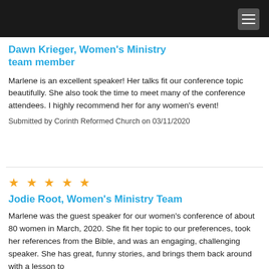Dawn Krieger, Women's Ministry team member
Dawn Krieger, Women's Ministry team member
Marlene is an excellent speaker! Her talks fit our conference topic beautifully. She also took the time to meet many of the conference attendees. I highly recommend her for any women's event!
Submitted by Corinth Reformed Church on 03/11/2020
★★★★★
Jodie Root, Women's Ministry Team
Marlene was the guest speaker for our women's conference of about 80 women in March, 2020. She fit her topic to our preferences, took her references from the Bible, and was an engaging, challenging speaker. She has great, funny stories, and brings them back around with a lesson to